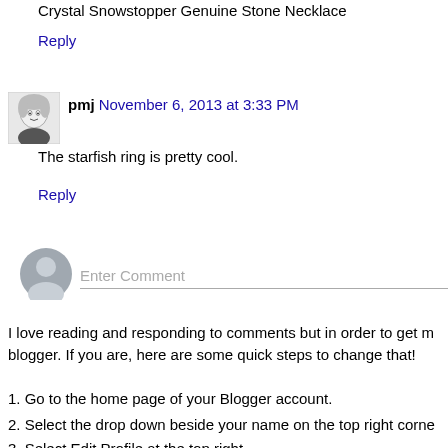Crystal Snowstopper Genuine Stone Necklace
Reply
pmj  November 6, 2013 at 3:33 PM
The starfish ring is pretty cool.
Reply
Enter Comment
I love reading and responding to comments but in order to get m... blogger. If you are, here are some quick steps to change that!
1. Go to the home page of your Blogger account.
2. Select the drop down beside your name on the top right corne...
3. Select Edit Profile at the top right.